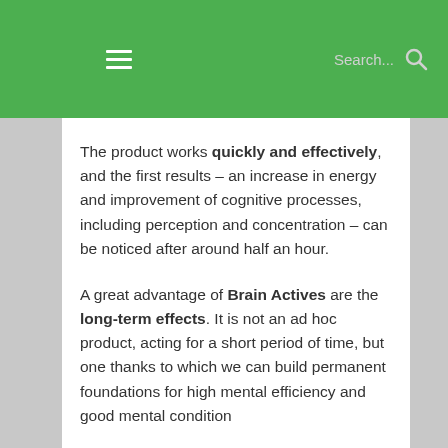≡  Search...
The product works quickly and effectively, and the first results – an increase in energy and improvement of cognitive processes, including perception and concentration – can be noticed after around half an hour.
A great advantage of Brain Actives are the long-term effects. It is not an ad hoc product, acting for a short period of time, but one thanks to which we can build permanent foundations for high mental efficiency and good mental condition